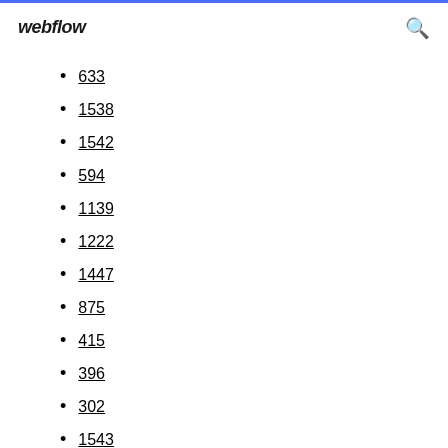webflow
633
1538
1542
594
1139
1222
1447
875
415
396
302
1543